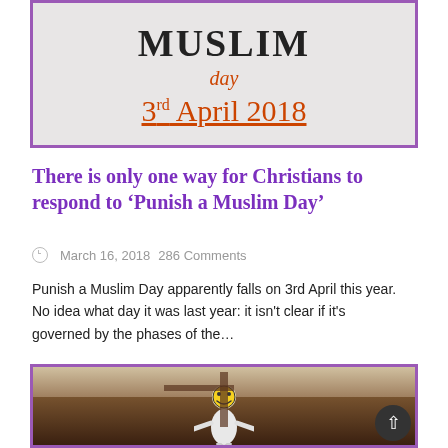[Figure (photo): A flyer or poster showing the text 'MUSLIM day 3rd April 2018' with the date underlined, on a grey/white background, bordered in purple.]
There is only one way for Christians to respond to ‘Punish a Muslim Day’
March 16, 2018    286 Comments
Punish a Muslim Day apparently falls on 3rd April this year. No idea what day it was last year: it isn't clear if it's governed by the phases of the…
[Figure (photo): A person dressed as a Star Wars Stormtrooper with a smiley face emoji head, posed with arms outstretched in a crucifixion pose inside a church with dark wooden panelling.]